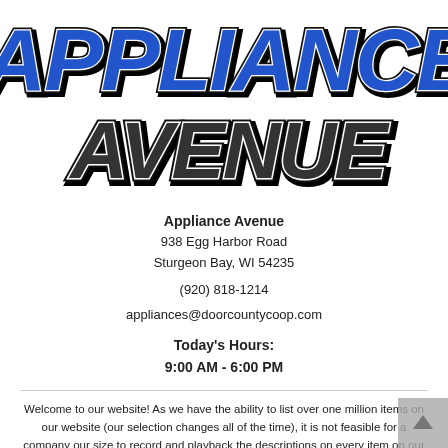[Figure (logo): Appliance Avenue logo with bold blue and black stylized text: 'APPLIANCE' on top and 'AVENUE' below in italic block letters with white outlines and dark shadow]
Appliance Avenue
938 Egg Harbor Road
Sturgeon Bay, WI 54235
(920) 818-1214
appliances@doorcountycoop.com
Today's Hours:
9:00 AM - 6:00 PM
Welcome to our website! As we have the ability to list over one million items on our website (our selection changes all of the time), it is not feasible for a company our size to record and playback the descriptions on every item on our website. However, if you have a disability we are here to help you. Please call our disability services phone line at (920) 818-1214 during regular business hours and one of our kind and friendly personal shoppers will help you navigate through our website, help conduct advanced searches, help you choose the item you are looking for with the